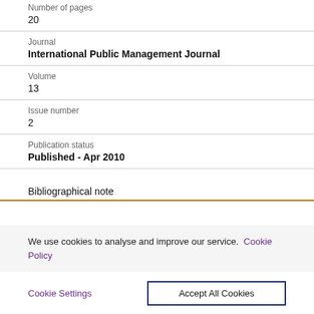Number of pages
20
Journal
International Public Management Journal
Volume
13
Issue number
2
Publication status
Published - Apr 2010
Bibliographical note
We use cookies to analyse and improve our service. Cookie Policy
Cookie Settings
Accept All Cookies